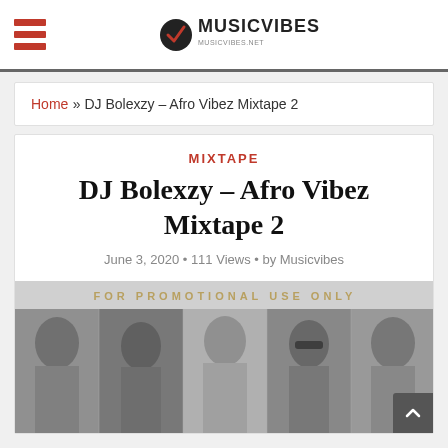MusicVibes
Home » DJ Bolexzy – Afro Vibez Mixtape 2
MIXTAPE
DJ Bolexzy – Afro Vibez Mixtape 2
June 3, 2020 • 111 Views • by Musicvibes
[Figure (photo): Black and white promotional mixtape cover showing five people posing, with text FOR PROMOTIONAL USE ONLY at the top]